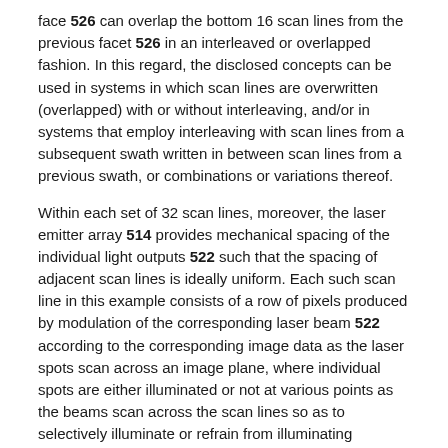face 526 can overlap the bottom 16 scan lines from the previous facet 526 in an interleaved or overlapped fashion. In this regard, the disclosed concepts can be used in systems in which scan lines are overwritten (overlapped) with or without interleaving, and/or in systems that employ interleaving with scan lines from a subsequent swath written in between scan lines from a previous swath, or combinations or variations thereof.
Within each set of 32 scan lines, moreover, the laser emitter array 514 provides mechanical spacing of the individual light outputs 522 such that the spacing of adjacent scan lines is ideally uniform. Each such scan line in this example consists of a row of pixels produced by modulation of the corresponding laser beam 522 according to the corresponding image data as the laser spots scan across an image plane, where individual spots are either illuminated or not at various points as the beams scan across the scan lines so as to selectively illuminate or refrain from illuminating individual locations on the photoreceptor 504 according to the input image data. In this way a latent image is created by selectively discharging the areas of the photoreceptor 504 which are